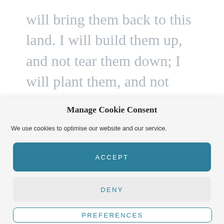will bring them back to this land. I will build them up, and not tear them down; I will plant them, and not pluck them up. I will give them a heart to know that I am the Lord, and they shall be my people and I will be their God, for they shall return to
Manage Cookie Consent
We use cookies to optimise our website and our service.
ACCEPT
DENY
PREFERENCES